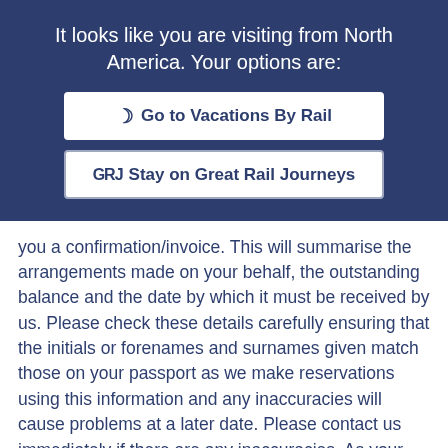It looks like you are visiting from North America. Your options are:
Go to Vacations By Rail
GRJ Stay on Great Rail Journeys
you a confirmation/invoice. This will summarise the arrangements made on your behalf, the outstanding balance and the date by which it must be received by us. Please check these details carefully ensuring that the initials or forenames and surnames given match those on your passport as we make reservations using this information and any inaccuracies will cause problems at a later date. Please contact us immediately if there are any inaccuracies. As your holiday approaches, we write to you again approximately 10 weeks prior to your departure to remind you of certain points concerning your holiday. Then, approximately 10 days prior to departure date, your final holiday